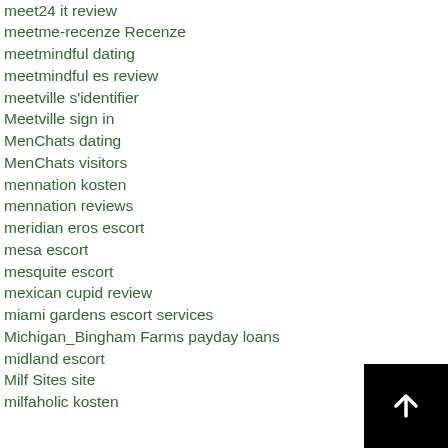meet24 it review
meetme-recenze Recenze
meetmindful dating
meetmindful es review
meetville s'identifier
Meetville sign in
MenChats dating
MenChats visitors
mennation kosten
mennation reviews
meridian eros escort
mesa escort
mesquite escort
mexican cupid review
miami gardens escort services
Michigan_Bingham Farms payday loans
midland escort
Milf Sites site
milfaholic kosten